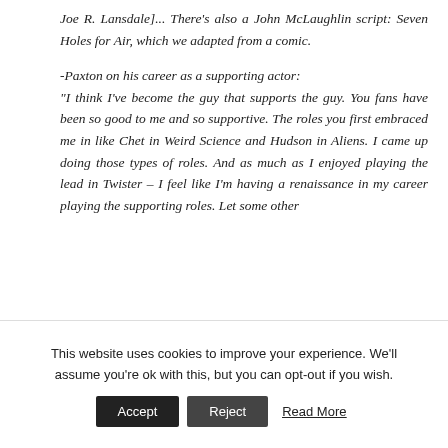Joe R. Lansdale]... There's also a John McLaughlin script: Seven Holes for Air, which we adapted from a comic.

-Paxton on his career as a supporting actor: "I think I've become the guy that supports the guy. You fans have been so good to me and so supportive. The roles you first embraced me in like Chet in Weird Science and Hudson in Aliens. I came up doing those types of roles. And as much as I enjoyed playing the lead in Twister – I feel like I'm having a renaissance in my career playing the supporting roles. Let some other
This website uses cookies to improve your experience. We'll assume you're ok with this, but you can opt-out if you wish. Accept Reject Read More